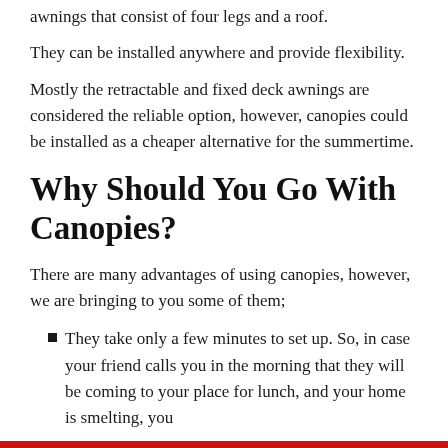awnings that consist of four legs and a roof.
They can be installed anywhere and provide flexibility.
Mostly the retractable and fixed deck awnings are considered the reliable option, however, canopies could be installed as a cheaper alternative for the summertime.
Why Should You Go With Canopies?
There are many advantages of using canopies, however, we are bringing to you some of them;
They take only a few minutes to set up. So, in case your friend calls you in the morning that they will be coming to your place for lunch, and your home is smelting, you